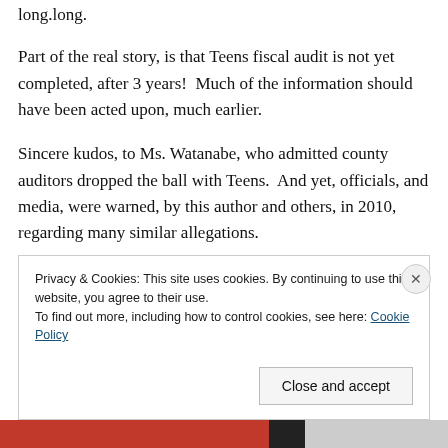long.
Part of the real story, is that Teens fiscal audit is not yet completed, after 3 years!  Much of the information should have been acted upon, much earlier.
Sincere kudos, to Ms. Watanabe, who admitted county auditors dropped the ball with Teens.  And yet, officials, and media, were warned, by this author and others, in 2010, regarding many similar allegations.
Malfeasance, as well as child welfare issues, at Teens, were continuously ignored.
Privacy & Cookies: This site uses cookies. By continuing to use this website, you agree to their use.
To find out more, including how to control cookies, see here: Cookie Policy
Close and accept